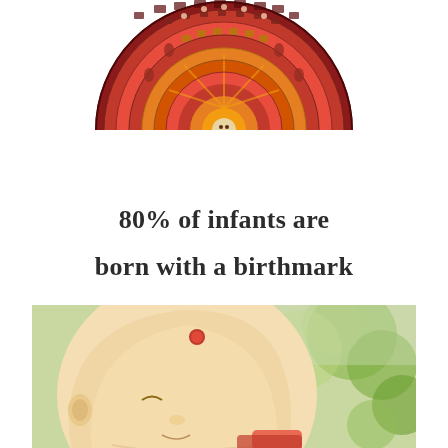[Figure (illustration): Top half of an Aztec/Mayan calendar stone with red and orange colors, showing detailed carvings and symbols arranged in concentric rings]
80% of infants are born with a birthmark
[Figure (photo): Close-up photo of a bald baby with a small birthmark (red spot) on top of its head, photographed outdoors with green bokeh background]